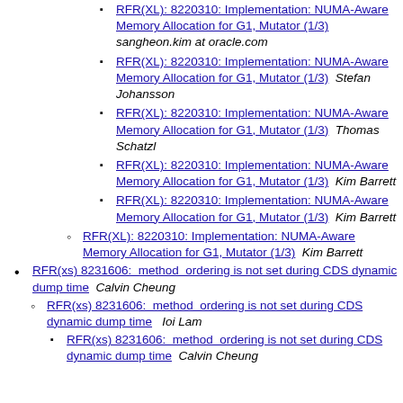RFR(XL): 8220310: Implementation: NUMA-Aware Memory Allocation for G1, Mutator (1/3)  sangheon.kim at oracle.com
RFR(XL): 8220310: Implementation: NUMA-Aware Memory Allocation for G1, Mutator (1/3)  Stefan Johansson
RFR(XL): 8220310: Implementation: NUMA-Aware Memory Allocation for G1, Mutator (1/3)  Thomas Schatzl
RFR(XL): 8220310: Implementation: NUMA-Aware Memory Allocation for G1, Mutator (1/3)  Kim Barrett
RFR(XL): 8220310: Implementation: NUMA-Aware Memory Allocation for G1, Mutator (1/3)  Kim Barrett
RFR(XL): 8220310: Implementation: NUMA-Aware Memory Allocation for G1, Mutator (1/3)  Kim Barrett
RFR(xs) 8231606:  method  ordering is not set during CDS dynamic dump time  Calvin Cheung
RFR(xs) 8231606:  method  ordering is not set during CDS dynamic dump time  Ioi Lam
RFR(xs) 8231606:  method  ordering is not set during CDS dynamic dump time  Calvin Cheung